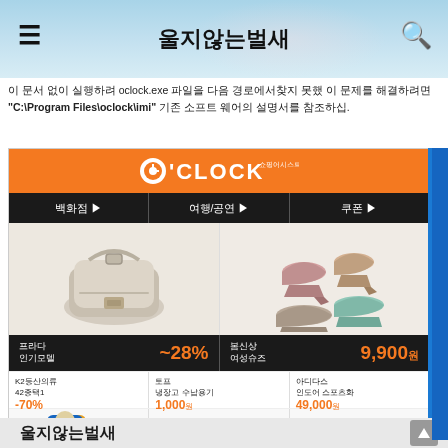울지않는벌새
이 문서 없이 실행하려 oclock.exe 파일을 다음 경로에서찾지 못했 이 문제를 해결하려면 "C:\Program Files\oclock\imi" 기존 소프트 웨어의 설명서를 참조하십.
[Figure (screenshot): O'CLOCK shopping website advertisement showing handbag, shoes, and clothing products with Korean text and prices. Includes O'Clock logo, navigation menu (백화점, 여행/공연, 쿠폰), product listings: 프라다 인기모델 ~28%, 봄신상 여성슈즈 9,900원, K2등산의류 42종택1 -70%, 토프 냉장고 수납용기 1,000원, 아디다스 인도어 스포츠화 49,000원]
울지않는벌새